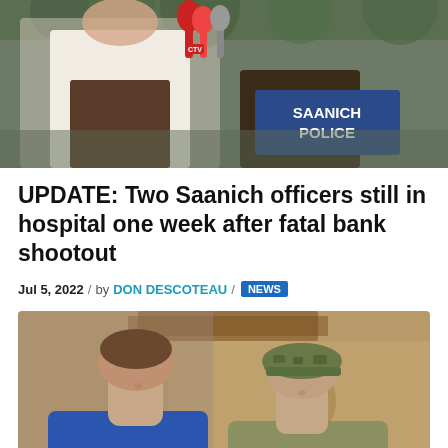[Figure (photo): Person in white shirt standing at a podium with a blue 'SAANICH POLICE' sign, multiple microphones visible including a CTV mic, at an outdoor press conference.]
UPDATE: Two Saanich officers still in hospital one week after fatal bank shootout
Jul 5, 2022 / by DON DESCOTEAU / NEWS
[Figure (photo): Two young men side by side in an indoor setting; the man on the left wears a blue t-shirt, the man on the right wears a camouflage cap and olive/grey shirt. A guitar is visible in the background.]